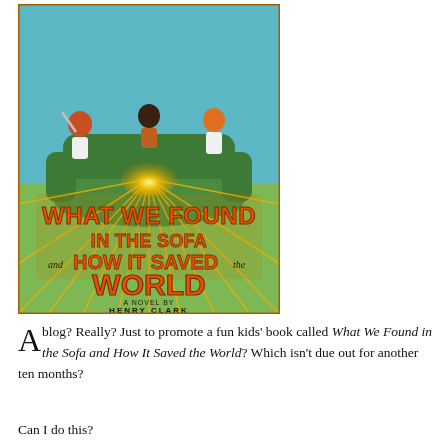[Figure (illustration): Book cover illustration for 'What We Found in the Sofa and How It Saved the World, A Novel by Henry Clark'. Shows three children sitting on a glowing green sofa against a golden radiant background with fantasy elements.]
A blog? Really? Just to promote a fun kids' book called What We Found in the Sofa and How It Saved the World? Which isn't due out for another ten months?
Can I do this?